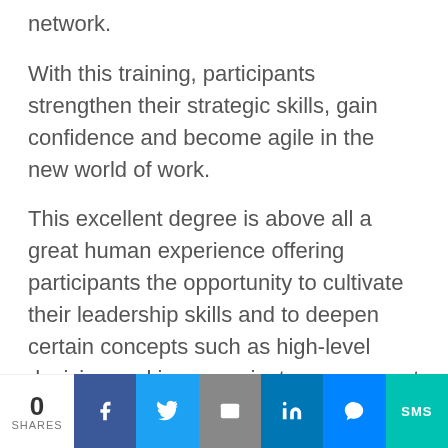network.
With this training, participants strengthen their strategic skills, gain confidence and become agile in the new world of work.
This excellent degree is above all a great human experience offering participants the opportunity to cultivate their leadership skills and to deepen certain concepts such as high-level decision-making or project management with multi-site teams.
0 SHARES | Facebook | Twitter | Email | LinkedIn | Messenger | SMS